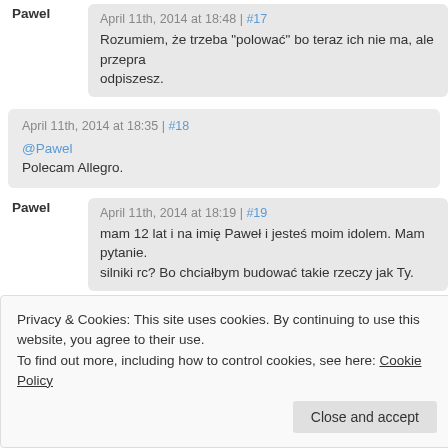Pawel — April 11th, 2014 at 18:48 | #17
Rozumiem, że trzeba "polować" bo teraz ich nie ma, ale przepra... odpiszesz.
April 11th, 2014 at 18:35 | #18
@Pawel
Polecam Allegro.
Pawel — April 11th, 2014 at 18:19 | #19
mam 12 lat i na imię Paweł i jesteś moim idolem. Mam pytanie. silniki rc? Bo chciałbym budować takie rzeczy jak Ty.
April 10th, 2014 at 23:54 | #20
@Max
Privacy & Cookies: This site uses cookies. By continuing to use this website, you agree to their use.
To find out more, including how to control cookies, see here: Cookie Policy
Close and accept